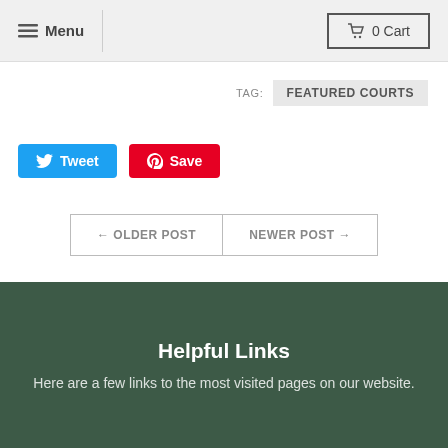Menu   0 Cart
TAG: FEATURED COURTS
[Figure (other): Tweet and Save (Pinterest) social sharing buttons]
← OLDER POST   NEWER POST →
Helpful Links
Here are a few links to the most visited pages on our website.